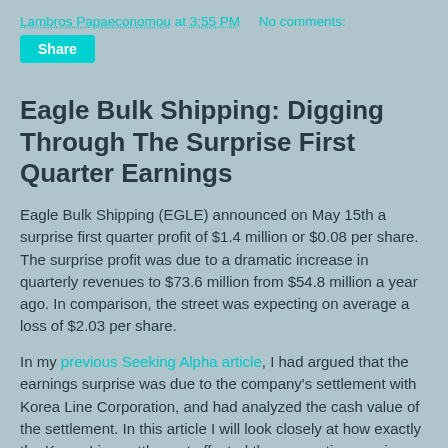Lambros Papaeconomou at 3:55 PM   No comments:
Share
Eagle Bulk Shipping: Digging Through The Surprise First Quarter Earnings
Eagle Bulk Shipping (EGLE) announced on May 15th a surprise first quarter profit of $1.4 million or $0.08 per share. The surprise profit was due to a dramatic increase in quarterly revenues to $73.6 million from $54.8 million a year ago. In comparison, the street was expecting on average a loss of $2.03 per share.
In my previous Seeking Alpha article, I had argued that the earnings surprise was due to the company's settlement with Korea Line Corporation, and had analyzed the cash value of the settlement. In this article I will look closely at how exactly the Korea Line settlement affected the accounting earnings for the quarter, and how its earnings would look in the